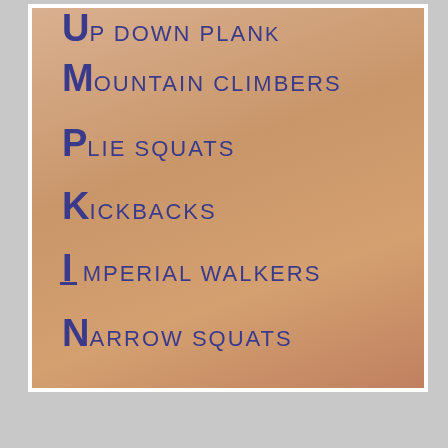Up Down Plank
Mountain Climbers
Plie Squats
Kickbacks
Imperial Walkers
Narrow Squats